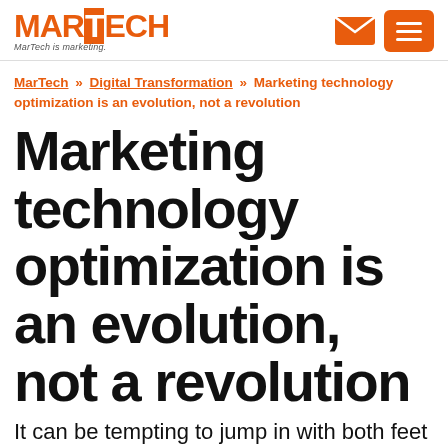MARTECH — MarTech is marketing.
MarTech » Digital Transformation » Marketing technology optimization is an evolution, not a revolution
Marketing technology optimization is an evolution, not a revolution
It can be tempting to jump in with both feet when you're adopting new marketing